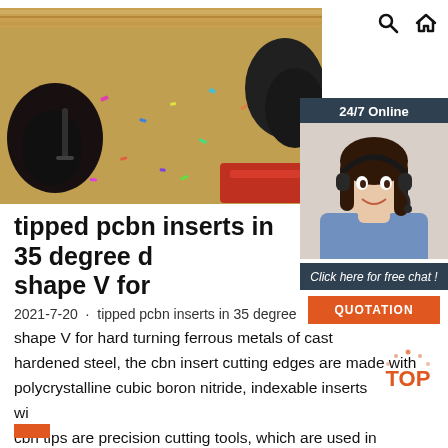Search | Home
[Figure (photo): Hero image showing a person lying on a floor with confetti and a wooden board overhead]
[Figure (photo): Sidebar showing 24/7 Online banner with a woman wearing a headset]
tipped pcbn inserts in 35 degree diamond shape V for
2021-7-20 · tipped pcbn inserts in 35 degree diamond shape V for hard turning ferrous metals of cast hardened steel, the cbn insert cutting edges are made with polycrystalline cubic boron nitride, indexable inserts with cbn tips are precision cutting tools, which are used in fine finish machining and turning roller, bearing, pumps, automobile brake disk, aircraft jet engine.